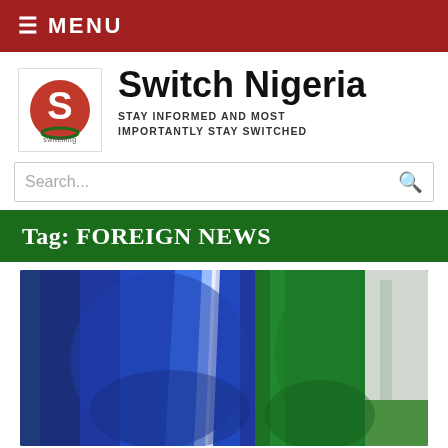≡ MENU
Switch Nigeria
STAY INFORMED AND MOST IMPORTANTLY STAY SWITCHED
Tag: FOREIGN NEWS
[Figure (photo): Two people wearing sporty athletic shirts, one in navy blue with a blue/white stripe, one in green, photographed from torso level outdoors]